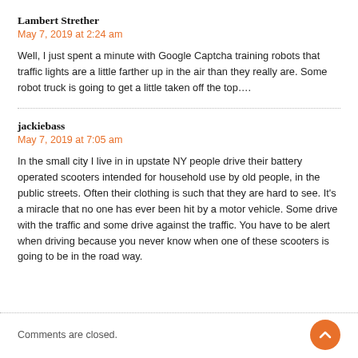Lambert Strether
May 7, 2019 at 2:24 am
Well, I just spent a minute with Google Captcha training robots that traffic lights are a little farther up in the air than they really are. Some robot truck is going to get a little taken off the top….
jackiebass
May 7, 2019 at 7:05 am
In the small city I live in in upstate NY people drive their battery operated scooters intended for household use by old people, in the public streets. Often their clothing is such that they are hard to see. It's a miracle that no one has ever been hit by a motor vehicle. Some drive with the traffic and some drive against the traffic. You have to be alert when driving because you never know when one of these scooters is going to be in the road way.
Comments are closed.